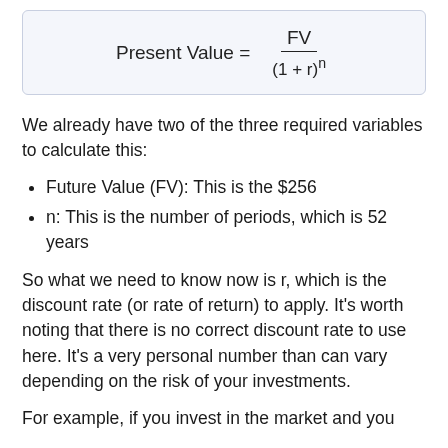We already have two of the three required variables to calculate this:
Future Value (FV): This is the $256
n: This is the number of periods, which is 52 years
So what we need to know now is r, which is the discount rate (or rate of return) to apply. It's worth noting that there is no correct discount rate to use here. It's a very personal number than can vary depending on the risk of your investments.
For example, if you invest in the market and you